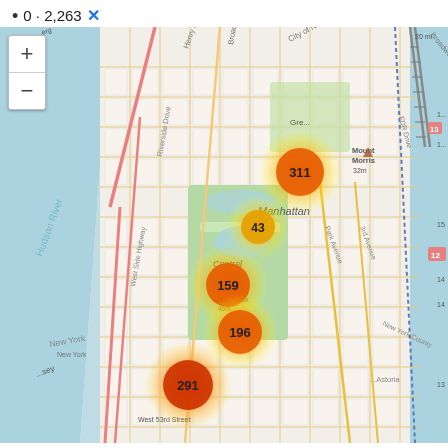0 · 2,263 ✕
[Figure (map): OpenStreetMap of Manhattan, New York showing cluster markers with counts: 311 (near Central Park North/Harlem), 43 (mid-Central Park area), 159 (mid-Central Park west side), 196 (Vista Rock area, Central Park), 291 (lower Central Park / West 53rd Street area). Each cluster has a heat-map style orange-red radial glow. Map shows Hudson River to the west, FDR Drive to the east, streets including Broadway, Riverside Drive, Park Avenue, 3rd Avenue, West Side Highway. Landmarks labeled include Mount Morris 32m, Manhattan, Central Park, Vista Rock, West 53rd Street, New York County, Astoria. Zoom +/- controls in top-left.]